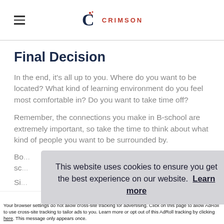Crimson
Final Decision
In the end, it's all up to you. Where do you want to be located? What kind of learning environment do you feel most comfortable in? Do you want to take time off?
Remember, the connections you make in B-school are extremely important, so take the time to think about what kind of people you want to be surrounded by.
Bo... sc...
Si...
[Figure (screenshot): Cookie consent banner overlay reading: 'This website uses cookies to ensure you get the best experience on our website. Learn more']
Accept and Close ✕
Your browser settings do not allow cross-site tracking for advertising. Click on this page to allow AdRoll to use cross-site tracking to tailor ads to you. Learn more or opt out of this AdRoll tracking by clicking here. This message only appears once.